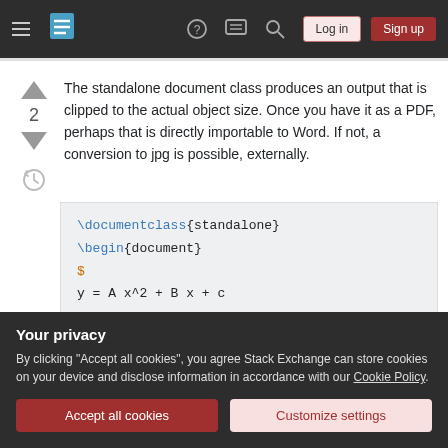Stack Exchange navigation bar with hamburger menu, logo, help, chat, search icons, Log in and Sign up buttons
The standalone document class produces an output that is clipped to the actual object size. Once you have it as a PDF, perhaps that is directly importable to Word. If not, a conversion to jpg is possible, externally.
\documentclass{standalone}
\begin{document}
$
y = A x^2 + B x + c
Your privacy
By clicking "Accept all cookies", you agree Stack Exchange can store cookies on your device and disclose information in accordance with our Cookie Policy.
Accept all cookies   Customize settings